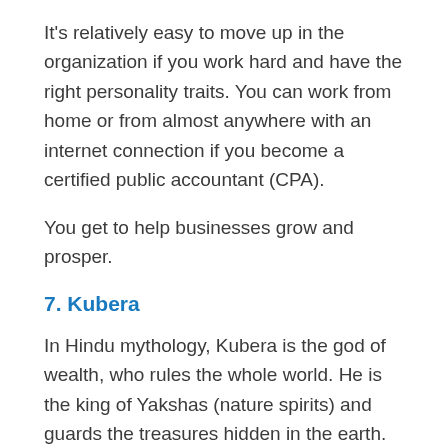It's relatively easy to move up in the organization if you work hard and have the right personality traits. You can work from home or from almost anywhere with an internet connection if you become a certified public accountant (CPA).
You get to help businesses grow and prosper.
7. Kubera
In Hindu mythology, Kubera is the god of wealth, who rules the whole world. He is the king of Yakshas (nature spirits) and guards the treasures hidden in the earth.